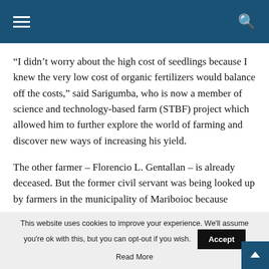Navigation header with hamburger menu and search icon
“I didn’t worry about the high cost of seedlings because I knew the very low cost of organic fertilizers would balance off the costs,” said Sarigumba, who is now a member of science and technology-based farm (STBF) project which allowed him to further explore the world of farming and discover new ways of increasing his yield.
The other farmer – Florencio L. Gentallan – is already deceased. But the former civil servant was being looked up by farmers in the municipality of Mariboioc because
This website uses cookies to improve your experience. We'll assume you're ok with this, but you can opt-out if you wish.
Read More